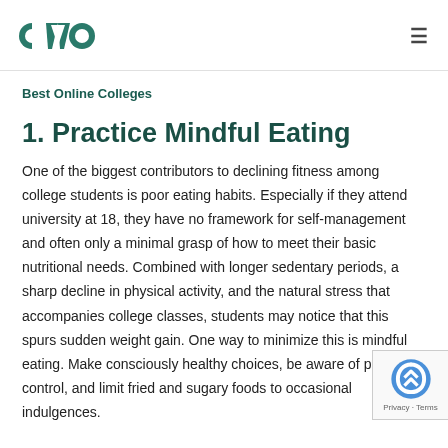CVO [logo] | hamburger menu
Best Online Colleges
1. Practice Mindful Eating
One of the biggest contributors to declining fitness among college students is poor eating habits. Especially if they attend university at 18, they have no framework for self-management and often only a minimal grasp of how to meet their basic nutritional needs. Combined with longer sedentary periods, a sharp decline in physical activity, and the natural stress that accompanies college classes, students may notice that this spurs sudden weight gain. One way to minimize this is mindful eating. Make consciously healthy choices, be aware of portion control, and limit fried and sugary foods to occasional indulgences.